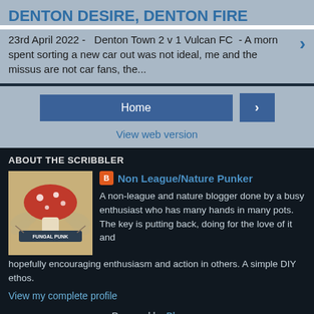DENTON DESIRE, DENTON FIRE
23rd April 2022 -   Denton Town 2 v 1 Vulcan FC  - A morn spent sorting a new car out was not ideal, me and the missus are not car fans, the...
Home
View web version
ABOUT THE SCRIBBLER
[Figure (illustration): Circular logo with a red mushroom and banner reading FUNGAL PUNK, with wings on the sides]
Non League/Nature Punker
A non-league and nature blogger done by a busy enthusiast who has many hands in many pots. The key is putting back, doing for the love of it and hopefully encouraging enthusiasm and action in others. A simple DIY ethos.
View my complete profile
Powered by Blogger.